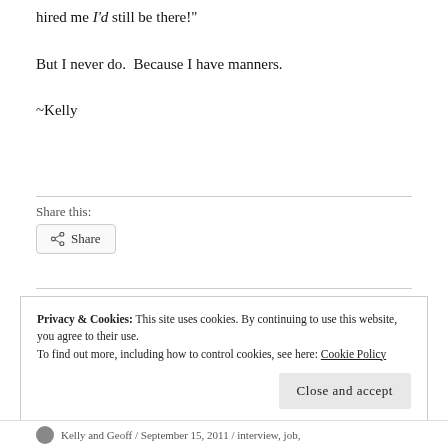hired me I'd still be there!"
But I never do.  Because I have manners.
~Kelly
Share this:
Share
Privacy & Cookies: This site uses cookies. By continuing to use this website, you agree to their use.
To find out more, including how to control cookies, see here: Cookie Policy
Close and accept
Kelly and Geoff / September 15, 2011 / interview, job,